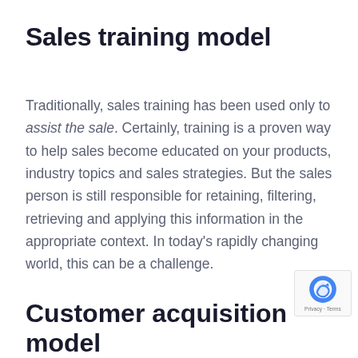Sales training model
Traditionally, sales training has been used only to assist the sale. Certainly, training is a proven way to help sales become educated on your products, industry topics and sales strategies. But the sales person is still responsible for retaining, filtering, retrieving and applying this information in the appropriate context. In today's rapidly changing world, this can be a challenge.
[Figure (logo): reCAPTCHA badge with Privacy and Terms text]
Customer acquisition model